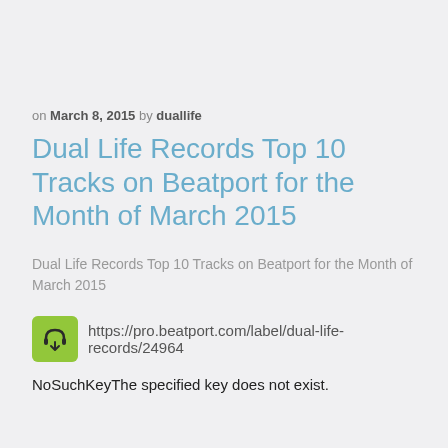on March 8, 2015 by duallife
Dual Life Records Top 10 Tracks on Beatport for the Month of March 2015
Dual Life Records Top 10 Tracks on Beatport for the Month of March 2015
[Figure (logo): Green square icon with headphones and a download arrow]
https://pro.beatport.com/label/dual-life-records/24964
NoSuchKeyThe specified key does not exist.